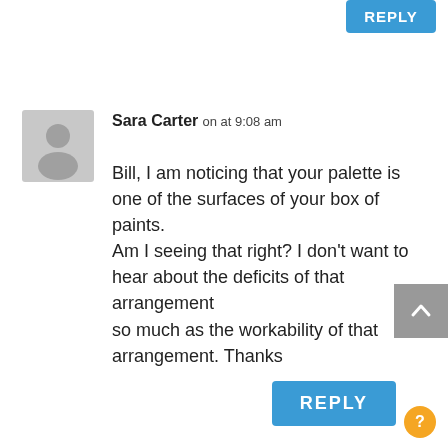REPLY
[Figure (illustration): Gray avatar silhouette icon of a person]
Sara Carter on at 9:08 am
Bill, I am noticing that your palette is one of the surfaces of your box of paints. Am I seeing that right? I don't want to hear about the deficits of that arrangement so much as the workability of that arrangement. Thanks
REPLY